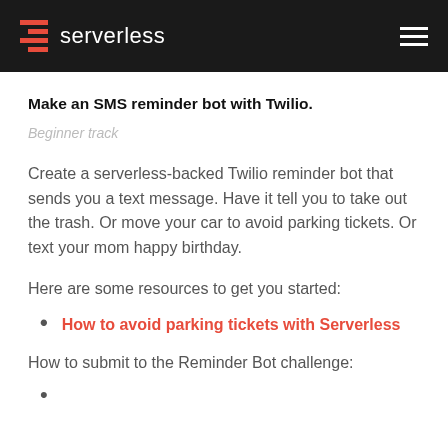serverless
Make an SMS reminder bot with Twilio.
Beginner track
Create a serverless-backed Twilio reminder bot that sends you a text message. Have it tell you to take out the trash. Or move your car to avoid parking tickets. Or text your mom happy birthday.
Here are some resources to get you started:
How to avoid parking tickets with Serverless
How to submit to the Reminder Bot challenge: